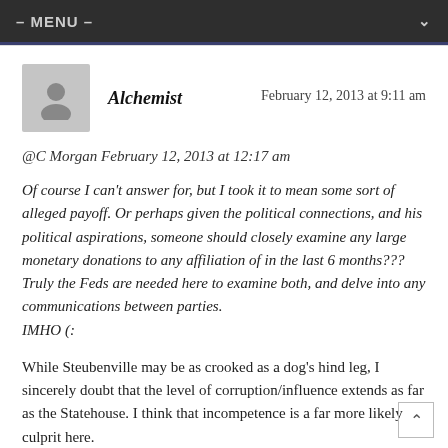– MENU –
Alchemist    February 12, 2013 at 9:11 am
@C Morgan February 12, 2013 at 12:17 am
Of course I can't answer for, but I took it to mean some sort of alleged payoff. Or perhaps given the political connections, and his political aspirations, someone should closely examine any large monetary donations to any affiliation of in the last 6 months??? Truly the Feds are needed here to examine both, and delve into any communications between parties. IMHO (:
While Steubenville may be as crooked as a dog's hind leg, I sincerely doubt that the level of corruption/influence extends as far as the Statehouse. I think that incompetence is a far more likely culprit here.